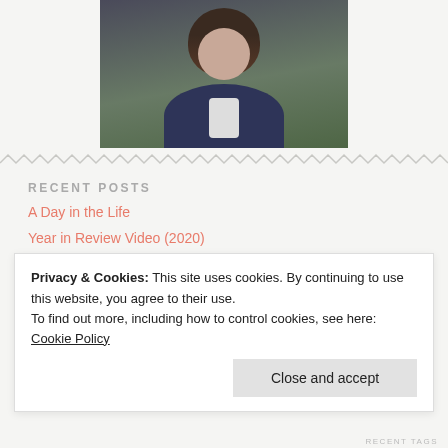[Figure (photo): Portrait photo of a woman with dark hair wearing a navy cardigan, outdoor background with green foliage]
RECENT POSTS
A Day in the Life
Year in Review Video (2020)
Three Memories From the Summer I Met Ben
3 Questions to Ask for a Simplified Christmas
8 Things I Learned This Fall…
Privacy & Cookies: This site uses cookies. By continuing to use this website, you agree to their use.
To find out more, including how to control cookies, see here: Cookie Policy
Close and accept
RECENT TAGS